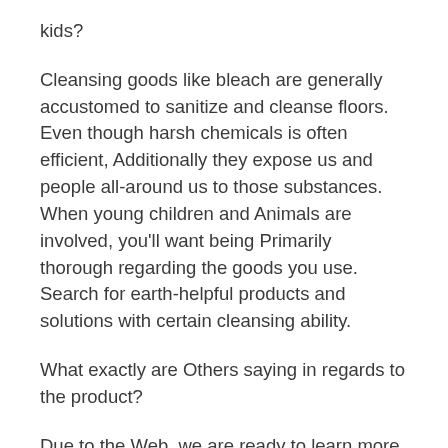kids?
Cleansing goods like bleach are generally accustomed to sanitize and cleanse floors. Even though harsh chemicals is often efficient, Additionally they expose us and people all-around us to those substances. When young children and Animals are involved, you'll want being Primarily thorough regarding the goods you use. Search for earth-helpful products and solutions with certain cleansing ability.
What exactly are Others saying in regards to the product?
Due to the Web, we are ready to learn more in regards to the things we would like with just a couple keystrokes. Just because a specific products is well known generally, like home name makes, does not imply They are the best in the marketplace. So, in